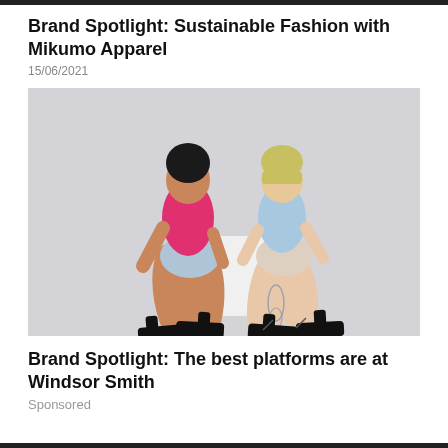Brand Spotlight: Sustainable Fashion with Mikumo Apparel
15/06/2021
[Figure (photo): Two young women posing back-to-back on a white block. One wears a pink crop top with light denim shorts and black platform shoes; the other wears a light blue crop top with beige shorts and black platform sandals. Studio background is light grey.]
Brand Spotlight: The best platforms are at Windsor Smith
Sponsored